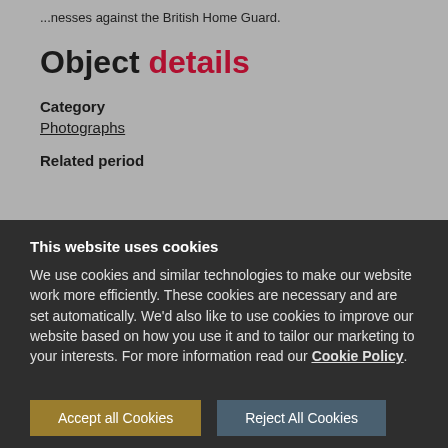...nesses against the British Home Guard.
Object details
Category
Photographs
Related period
This website uses cookies
We use cookies and similar technologies to make our website work more efficiently. These cookies are necessary and are set automatically. We'd also like to use cookies to improve our website based on how you use it and to tailor our marketing to your interests. For more information read our Cookie Policy.
Accept all Cookies
Reject All Cookies